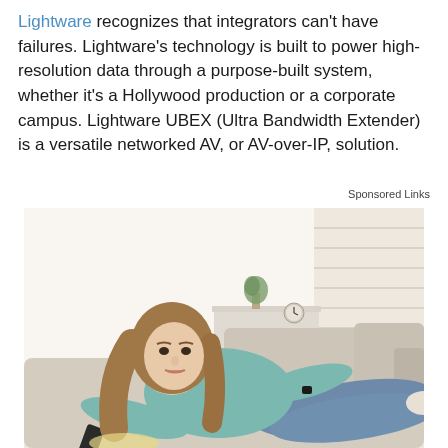Lightware recognizes that integrators can't have failures. Lightware's technology is built to power high-resolution data through a purpose-built system, whether it's a Hollywood production or a corporate campus. Lightware UBEX (Ultra Bandwidth Extender) is a versatile networked AV, or AV-over-IP, solution.
Sponsored Links
[Figure (photo): Photo of a young woman with long brown hair wearing a teal/green sweater, lying on a beige couch holding a TV remote control, looking bored or tired. The background shows a bright white room with furniture.]